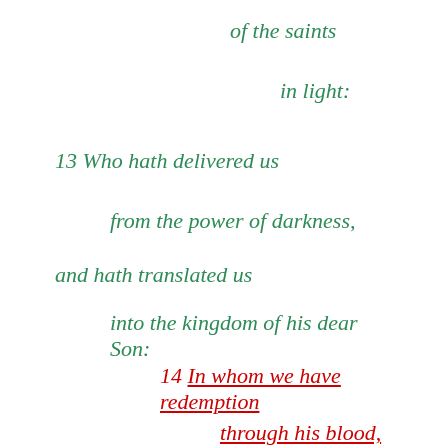of the saints
in light:
13 Who hath delivered us
from the power of darkness,
and hath translated us
into the kingdom of his dear Son:
14 In whom we have redemption
through his blood,